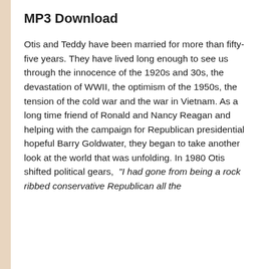MP3 Download
Otis and Teddy have been married for more than fifty-five years. They have lived long enough to see us through the innocence of the 1920s and 30s, the devastation of WWII, the optimism of the 1950s, the tension of the cold war and the war in Vietnam. As a long time friend of Ronald and Nancy Reagan and helping with the campaign for Republican presidential hopeful Barry Goldwater, they began to take another look at the world that was unfolding. In 1980 Otis shifted political gears, "I had gone from being a rock ribbed conservative Republican all the